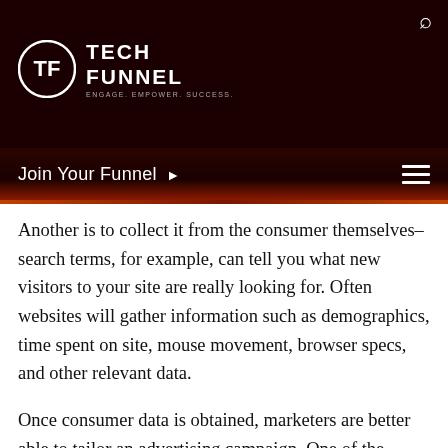[Figure (logo): TechFunnel logo with circular TF emblem and text 'TECH FUNNEL']
Join Your Funnel ▶
Another is to collect it from the consumer themselves– search terms, for example, can tell you what new visitors to your site are really looking for. Often websites will gather information such as demographics, time spent on site, mouse movement, browser specs, and other relevant data.
Once consumer data is obtained, marketers are better able to tailor an advertising campaign. One of the primary goals of ad tech is to bring in repeat visitors by retargeting them after they leave the site. These are users that you already have data on, so they are that much easier to reach.